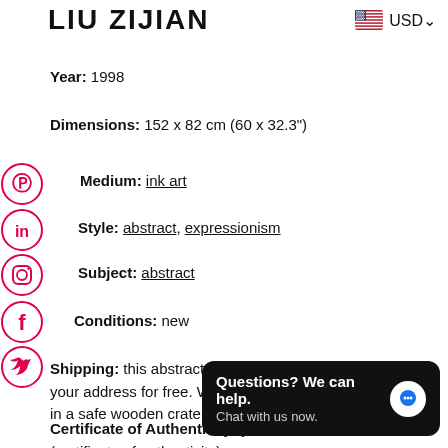LIU ZIJIAN
Year: 1998
Dimensions: 152 x 82 cm (60 x 32.3")
Medium: ink art
Style: abstract, expressionism
Subject: abstract
Conditions: new
Shipping: this abstract ink painting will be shipped to your address for free. We will deliver this work unframed, in a safe wooden crate.
Certificate of Authenticity: you (certificate of authenticity)